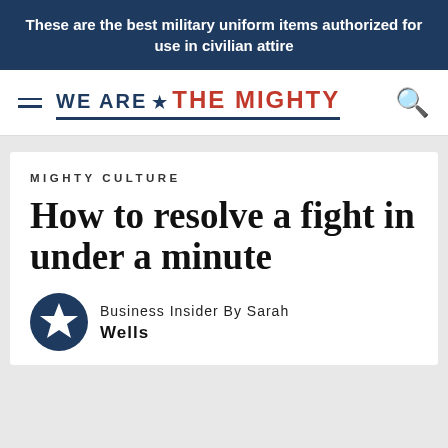These are the best military uniform items authorized for use in civilian attire
[Figure (logo): We Are The Mighty logo with hamburger menu and search icon]
MIGHTY CULTURE
How to resolve a fight in under a minute
Business Insider By Sarah Wells